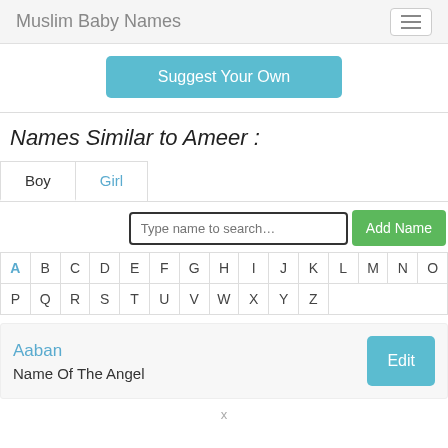Muslim Baby Names
Suggest Your Own
Names Similar to Ameer :
Boy | Girl (tabs)
Type name to search...  Add Name
| A | B | C | D | E | F | G | H | I | J | K | L | M | N | O |
| --- | --- | --- | --- | --- | --- | --- | --- | --- | --- | --- | --- | --- | --- | --- |
| P | Q | R | S | T | U | V | W | X | Y | Z |  |  |  |  |
Aaban
Name Of The Angel